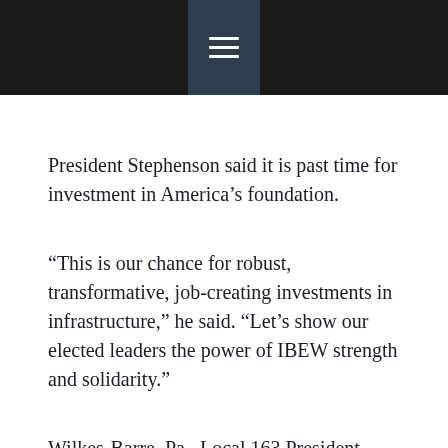☰
President Stephenson said it is past time for investment in America’s foundation.
“This is our chance for robust, transformative, job-creating investments in infrastructure,” he said. “Let’s show our elected leaders the power of IBEW strength and solidarity.”
Wilkes-Barre, Pa., Local 163 President Raymond Sipple called three members of Congress who